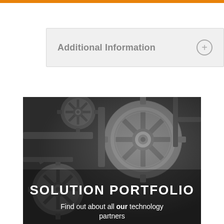Additional Information
[Figure (photo): Black and white photograph of interlocking industrial gears and mechanical components, with overlaid white text reading 'SOLUTION PORTFOLIO' and 'Find out about all our technology partners']
SOLUTION PORTFOLIO
Find out about all our technology partners